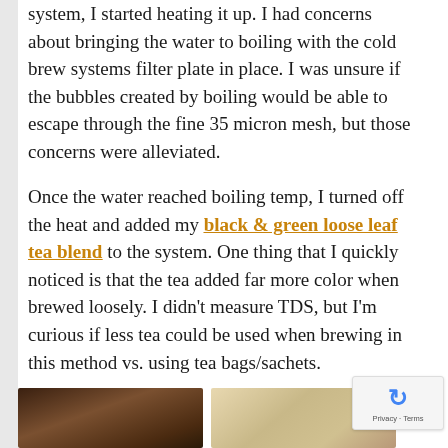system, I started heating it up. I had concerns about bringing the water to boiling with the cold brew systems filter plate in place. I was unsure if the bubbles created by boiling would be able to escape through the fine 35 micron mesh, but those concerns were alleviated.
Once the water reached boiling temp, I turned off the heat and added my black & green loose leaf tea blend to the system. One thing that I quickly noticed is that the tea added far more color when brewed loosely. I didn't measure TDS, but I'm curious if less tea could be used when brewing in this method vs. using tea bags/sachets.
[Figure (photo): Two photos side by side at the bottom of the page: left photo shows a dark metallic pot/kettle, right photo shows a white bowl or cup with tea-related items.]